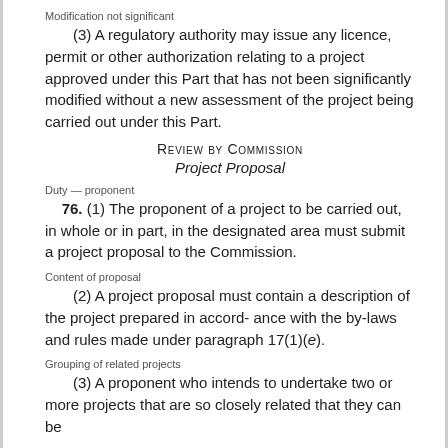Modification not significant
(3) A regulatory authority may issue any licence, permit or other authorization relating to a project approved under this Part that has not been significantly modified without a new assessment of the project being carried out under this Part.
Review by Commission
Project Proposal
Duty — proponent
76. (1) The proponent of a project to be carried out, in whole or in part, in the designated area must submit a project proposal to the Commission.
Content of proposal
(2) A project proposal must contain a description of the project prepared in accord- ance with the by-laws and rules made under paragraph 17(1)(e).
Grouping of related projects
(3) A proponent who intends to undertake two or more projects that are so closely related that they can be